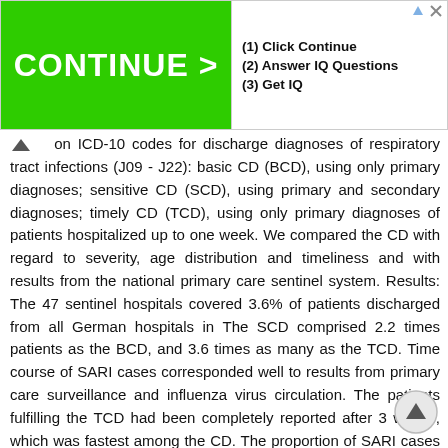[Figure (screenshot): Advertisement banner with green 'CONTINUE >' button on left and text '(1) Click Continue (2) Answer IQ Questions (3) Get IQ' on right]
on ICD-10 codes for discharge diagnoses of respiratory tract infections (J09 - J22): basic CD (BCD), using only primary diagnoses; sensitive CD (SCD), using primary and secondary diagnoses; timely CD (TCD), using only primary diagnoses of patients hospitalized up to one week. We compared the CD with regard to severity, age distribution and timeliness and with results from the national primary care sentinel system. Results: The 47 sentinel hospitals covered 3.6% of patients discharged from all German hospitals in The SCD comprised 2.2 times patients as the BCD, and 3.6 times as many as the TCD. Time course of SARI cases corresponded well to results from primary care surveillance and influenza virus circulation. The patients fulfilling the TCD had been completely reported after 3 weeks, which was fastest among the CD. The proportion of SARI cases among patients was highest in the youngest age group of below 5-year-olds. However, the age group 60 years and above contributed most SARI cases. This was irrespective of the